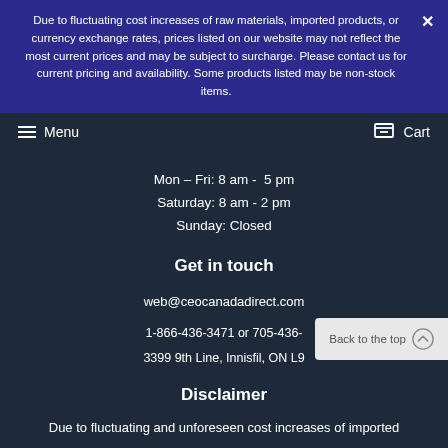Due to fluctuating cost increases of raw materials, imported products, or currency exchange rates, prices listed on our website may not reflect the most current prices and may be subject to surcharge. Please contact us for current pricing and availability. Some products listed may be non-stock items.
Menu   Cart
Mon – Fri: 8 am -  5 pm
Saturday: 8 am - 2 pm
Sunday: Closed
Get in touch
web@ceocanadadirect.com
1-866-436-3471 or 705-436-...
3399 9th Line, Innisfil, ON L9...
Disclaimer
Due to fluctuating and unforeseen cost increases of imported...